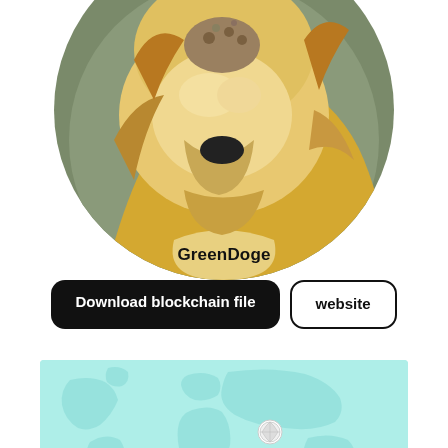[Figure (illustration): Circular portrait illustration of a Shiba Inu dog (GreenDoge mascot) with golden-yellow fur against a green-grey circular background, cropped at the top.]
GreenDoge
Download blockchain file
website
[Figure (map): Light cyan/teal colored world map showing continents in a slightly darker teal outline, with a small globe/coin icon visible near the center-right area. The map appears to be a flat projection background element.]